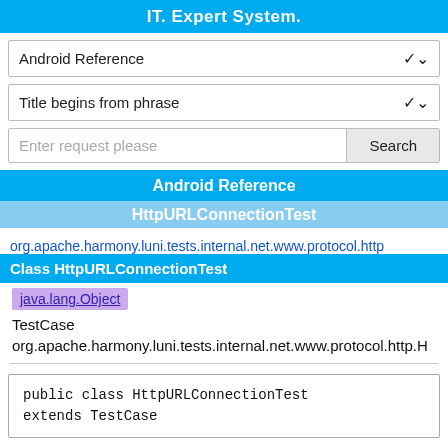IT. Expert System.
Android Reference
Title begins from phrase
Enter request please  Search
Android Reference
HttpURLConnectionTest
org.apache.harmony.luni.tests.internal.net.www.protocol.http
Class HttpURLConnectionTest
java.lang.Object
TestCase
org.apache.harmony.luni.tests.internal.net.www.protocol.http.H